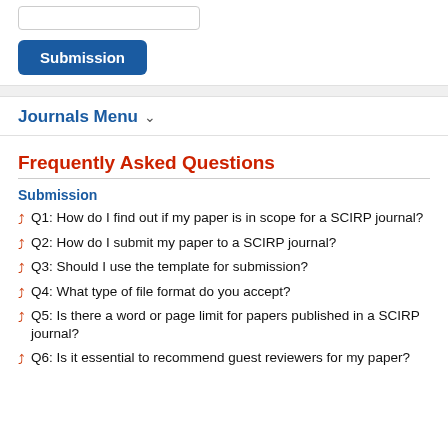[Figure (screenshot): Input bar and Submission button UI element]
Journals Menu ↓
Frequently Asked Questions
Submission
Q1: How do I find out if my paper is in scope for a SCIRP journal?
Q2: How do I submit my paper to a SCIRP journal?
Q3: Should I use the template for submission?
Q4: What type of file format do you accept?
Q5: Is there a word or page limit for papers published in a SCIRP journal?
Q6: Is it essential to recommend guest reviewers for my paper?